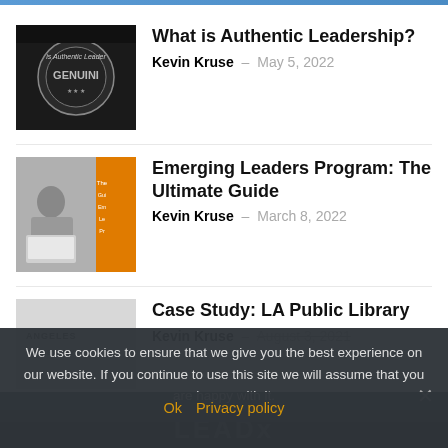[Figure (screenshot): Website listing of articles with thumbnails. Top blue bar visible.]
What is Authentic Leadership?
Kevin Kruse  -  May 5, 2022
Emerging Leaders Program: The Ultimate Guide
Kevin Kruse  -  March 8, 2022
Case Study: LA Public Library
Kevin Kruse  -  August 3, 2021
We use cookies to ensure that we give you the best experience on our website. If you continue to use this site we will assume that you are happy with it.
Ok    Privacy policy
[Figure (logo): LEADx logo in dark footer]